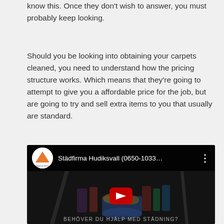know this. Once they don't wish to answer, you must probably keep looking.
Should you be looking into obtaining your carpets cleaned, you need to understand how the pricing structure works. Which means that they're going to attempt to give you a affordable price for the job, but are going to try and sell extra items to you that usually are standard.
[Figure (screenshot): Embedded YouTube video thumbnail showing a cleaning supplies bucket with mops and bottles, with a YouTube play button overlay. The video title reads 'Städfirma Hudiksvall (0650-1033...' with a channel icon labeled 'Digipeak Media'. Bottom text overlay reads 'BEHÖVER DU HJÄLP MED STÄDNING?']